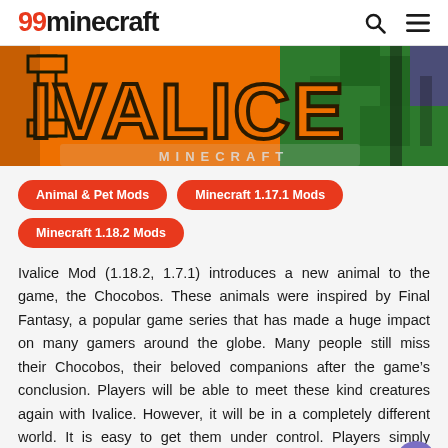99minecraft
[Figure (illustration): Banner image for Ivalice Mod showing large orange letters 'IVALICE' on a green and orange Minecraft-style background with the text 'Minecraft' at the bottom.]
Animal & Pet Mods
Minecraft 1.17.1 Mods
Minecraft 1.18.2 Mods
Ivalice Mod (1.18.2, 1.7.1) introduces a new animal to the game, the Chocobos. These animals were inspired by Final Fantasy, a popular game series that has made a huge impact on many gamers around the globe. Many people still miss their Chocobos, their beloved companions after the game's conclusion. Players will be able to meet these kind creatures again with Ivalice. However, it will be in a completely different world. It is easy to get them under control. Players simply need to cut the grass and collect the seeds to help them. To